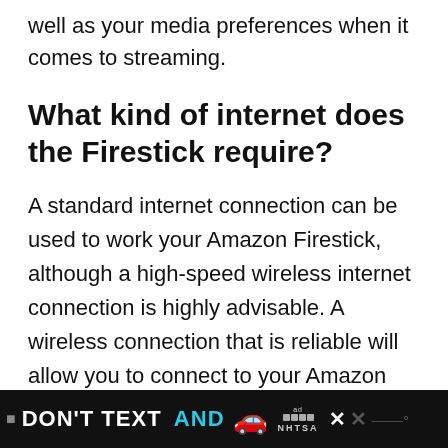well as your media preferences when it comes to streaming.
What kind of internet does the Firestick require?
A standard internet connection can be used to work your Amazon Firestick, although a high-speed wireless internet connection is highly advisable. A wireless connection that is reliable will allow you to connect to your Amazon Firestick remotely and from just ab
[Figure (infographic): Advertisement banner at bottom: dark background with 'DON'T TEXT' in white bold text and 'AND' in cyan bold text, a red car emoji, ad badge with squares and NHTSA text, close X button, and weather app icon.]